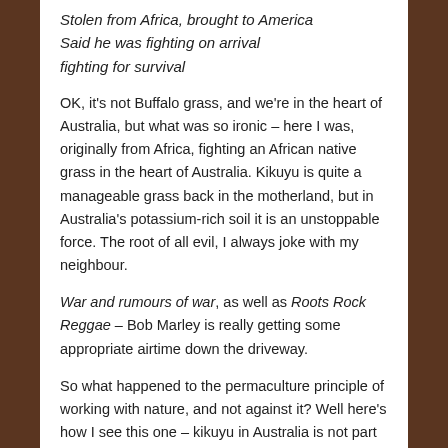Stolen from Africa, brought to America
Said he was fighting on arrival
fighting for survival
OK, it's not Buffalo grass, and we're in the heart of Australia, but what was so ironic – here I was, originally from Africa, fighting an African native grass in the heart of Australia. Kikuyu is quite a manageable grass back in the motherland, but in Australia's potassium-rich soil it is an unstoppable force. The root of all evil, I always joke with my neighbour.
War and rumours of war, as well as Roots Rock Reggae – Bob Marley is really getting some appropriate airtime down the driveway.
So what happened to the permaculture principle of working with nature, and not against it? Well here's how I see this one – kikuyu in Australia is not part of nature, but it is an introduced species and that's why it is so difficult to work with (or against, as in this case.)